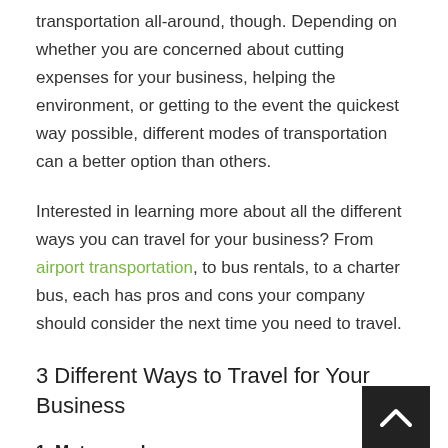transportation all-around, though. Depending on whether you are concerned about cutting expenses for your business, helping the environment, or getting to the event the quickest way possible, different modes of transportation can a better option than others.
Interested in learning more about all the different ways you can travel for your business? From airport transportation, to bus rentals, to a charter bus, each has pros and cons your company should consider the next time you need to travel.
3 Different Ways to Travel for Your Business
1. Motorcoach
The motorcoach industry is really taking off in the United States making it a great way to travel when the whole company needs to get to an event together. Every year,